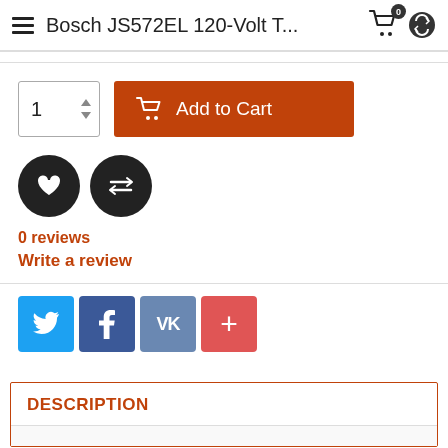Bosch JS572EL 120-Volt T...
[Figure (screenshot): Add to Cart section with quantity selector showing '1' and orange 'Add to Cart' button with cart icon]
[Figure (screenshot): Wishlist (heart) and Compare (arrows) dark circular icon buttons]
0 reviews
Write a review
[Figure (screenshot): Social sharing buttons: Twitter (blue), Facebook (dark blue), VK (steel blue), Plus/More (red-pink)]
DESCRIPTION